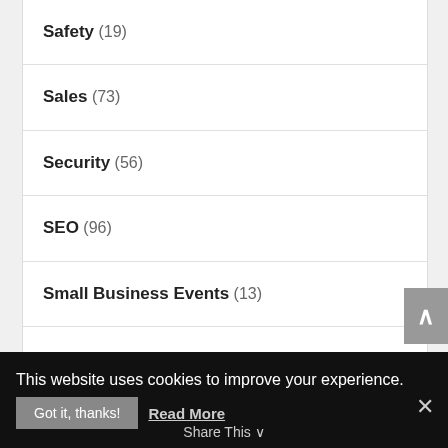Safety (19)
Sales (73)
Security (56)
SEO (96)
Small Business Events (13)
Social Media (206)
Software/Business Services (55)
Sponsored (9)
This website uses cookies to improve your experience.
Got it, thanks! Read More